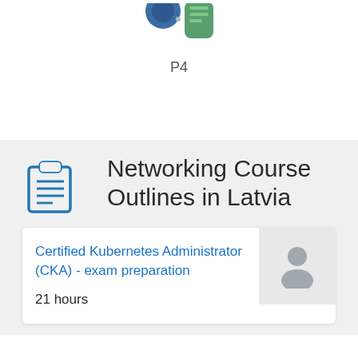[Figure (illustration): Partial view of networking/Kubernetes related icons at top, partially cropped]
P4
Networking Course Outlines in Latvia
Certified Kubernetes Administrator (CKA) - exam preparation
21 hours